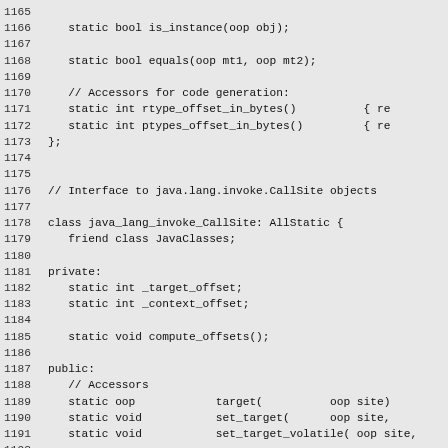Source code listing lines 1165-1194 showing C++ class definitions for java_lang_invoke_MethodType and java_lang_invoke_CallSite
[Figure (screenshot): C++ source code with line numbers 1165-1194, showing static method declarations and class definitions]